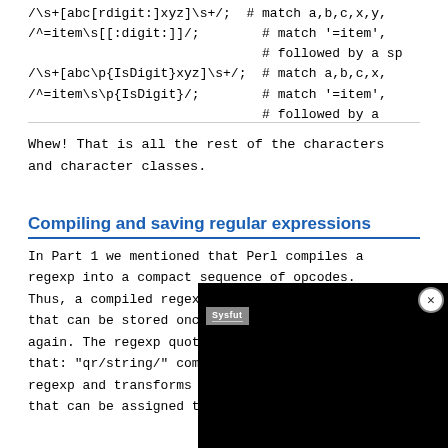/\s+[abc[rdigit:]xyz]\s+/;  # match a,b,c,x,y,
/^=item\s[[:digit:]]/;        # match '=item',
                              # followed by a sp
/\s+[abc\p{IsDigit}xyz]\s+/;  # match a,b,c,x,
/^=item\s\p{IsDigit}/;        # match '=item',
                              # followed by a
Whew! That is all the rest of the characters and character classes.
Compiling and saving regular expressions
In Part 1 we mentioned that Perl compiles a regexp into a compact sequence of opcodes. Thus, a compiled regexp is a data structure that can be stored once and used again. The regexp quote-like operator does that: "qr/string/" compiles the regexp and transforms th that can be assigned to
[Figure (screenshot): Black overlay box with SysNut logo and close (X) button in top right]